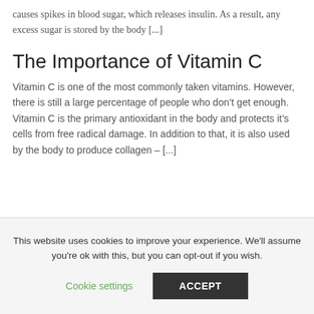causes spikes in blood sugar, which releases insulin. As a result, any excess sugar is stored by the body [...]
The Importance of Vitamin C
Vitamin C is one of the most commonly taken vitamins. However, there is still a large percentage of people who don’t get enough. Vitamin C is the primary antioxidant in the body and protects it’s cells from free radical damage. In addition to that, it is also used by the body to produce collagen – [...]
This website uses cookies to improve your experience. We'll assume you're ok with this, but you can opt-out if you wish.
Cookie settings
ACCEPT